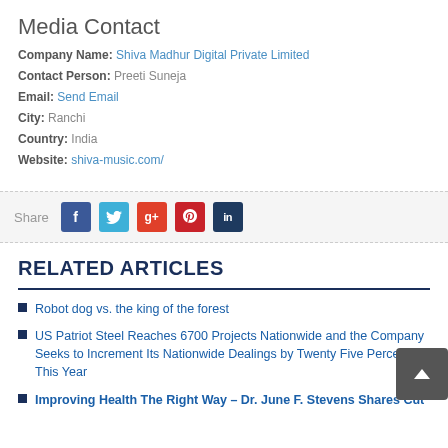Media Contact
Company Name: Shiva Madhur Digital Private Limited
Contact Person: Preeti Suneja
Email: Send Email
City: Ranchi
Country: India
Website: shiva-music.com/
[Figure (infographic): Share bar with social media icons: Facebook, Twitter, Google+, Pinterest, LinkedIn]
RELATED ARTICLES
Robot dog vs. the king of the forest
US Patriot Steel Reaches 6700 Projects Nationwide and the Company Seeks to Increment Its Nationwide Dealings by Twenty Five Percent This Year
Improving Health The Right Way – Dr. June F. Stevens Shares Cut